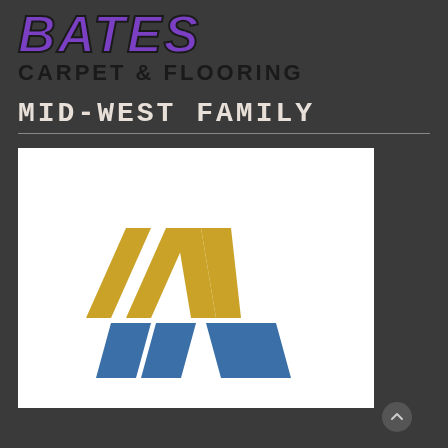BATES CARPET & FLOORING
MID-WEST FAMILY
[Figure (logo): Mid-West Family logo: stylized 'MW' mark with gold upper chevrons and blue lower chevrons on white background]